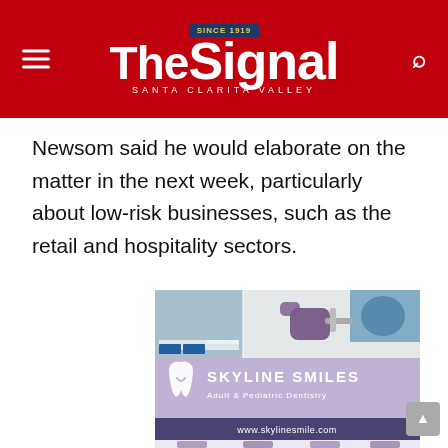The Signal — Santa Clarita Valley
Newsom said he would elaborate on the matter in the next week, particularly about low-risk businesses, such as the retail and hospitality sectors.
[Figure (illustration): Advertisement for Skyline Smiles Adult & Pediatric Dentistry showing dental office interior photos, a tooth logo, the brand name SKYLINE SMILES, subtitle Adult & Pediatric Dentistry, and website www.skylinesmile.com]